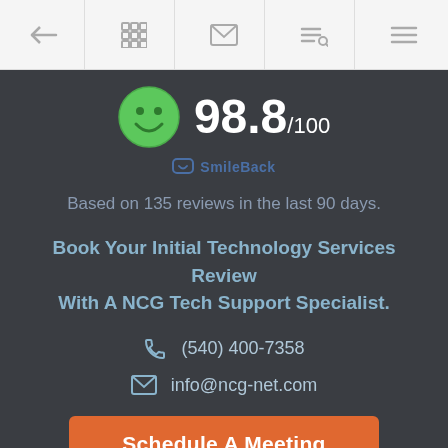[Figure (screenshot): Navigation bar with icons: back arrow, grid, envelope, search/filter, hamburger menu]
[Figure (infographic): Green smiley face circle icon with score 98.8/100 from SmileBack]
Based on 135 reviews in the last 90 days.
Book Your Initial Technology Services Review With A NCG Tech Support Specialist.
(540) 400-7358
info@ncg-net.com
Schedule A Meeting